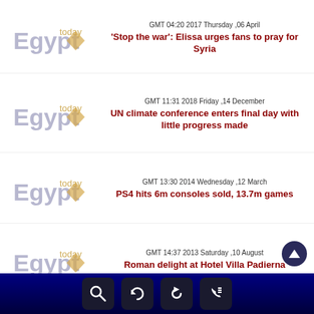[Figure (logo): Egypt Today logo - top left of first news item]
GMT 04:20 2017 Thursday ,06 April
'Stop the war': Elissa urges fans to pray for Syria
[Figure (logo): Egypt Today logo - top left of second news item]
GMT 11:31 2018 Friday ,14 December
UN climate conference enters final day with little progress made
[Figure (logo): Egypt Today logo - top left of third news item]
GMT 13:30 2014 Wednesday ,12 March
PS4 hits 6m consoles sold, 13.7m games
[Figure (logo): Egypt Today logo - top left of fourth news item]
GMT 14:37 2013 Saturday ,10 August
Roman delight at Hotel Villa Padierna
Navigation bar with search, refresh, back, and call icons